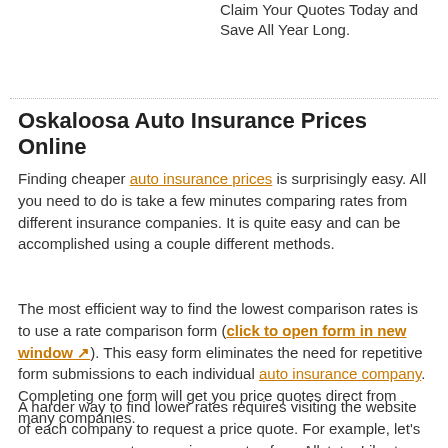Fast, Easy, and Totally Free. Claim Your Quotes Today and Save All Year Long.
Oskaloosa Auto Insurance Prices Online
Finding cheaper auto insurance prices is surprisingly easy. All you need to do is take a few minutes comparing rates from different insurance companies. It is quite easy and can be accomplished using a couple different methods.
The most efficient way to find the lowest comparison rates is to use a rate comparison form (click to open form in new window). This easy form eliminates the need for repetitive form submissions to each individual auto insurance company. Completing one form will get you price quotes direct from many companies.
A harder way to find lower rates requires visiting the website of each company to request a price quote. For example, let's assume you want comparison quotes from Allstate, Liberty Mutual and Farmers. You would have to take the time to go to each site to enter your coverage information, which is why the